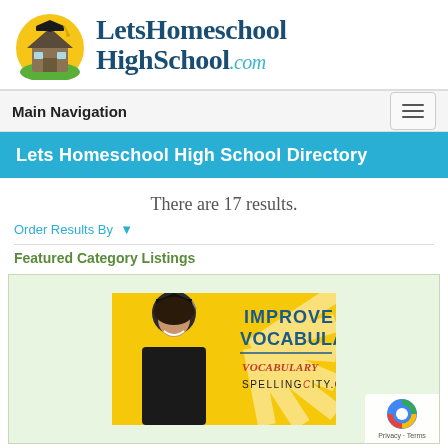[Figure (logo): LetsHomeschoolHighSchool.com logo with house/graduation cap icon and teal/navy text]
Main Navigation
Lets Homeschool High School Directory
There are 17 results.
Order Results By
Featured Category Listings
[Figure (photo): Advertisement banner: woman in graduation cap smiling, yellow sunburst background, text reading IMPROVE VOCABULARY, VocabularySpellingCity.com]